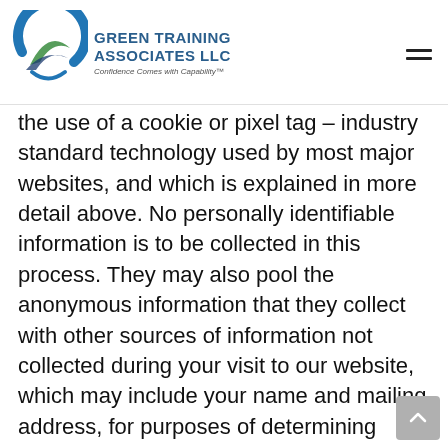GREEN TRAINING ASSOCIATES LLC — Confidence Comes with Capability™
the use of a cookie or pixel tag – industry standard technology used by most major websites, and which is explained in more detail above. No personally identifiable information is to be collected in this process. They may also pool the anonymous information that they collect with other sources of information not collected during your visit to our website, which may include your name and mailing address, for purposes of determining whether you might be interested in receiving a catalog.If you do not wish for cookies or pixel tags to be placed on your computer, most commercially available web browsers permit you to prevent that from taking place. To opt-out of receiving our catalogs, you